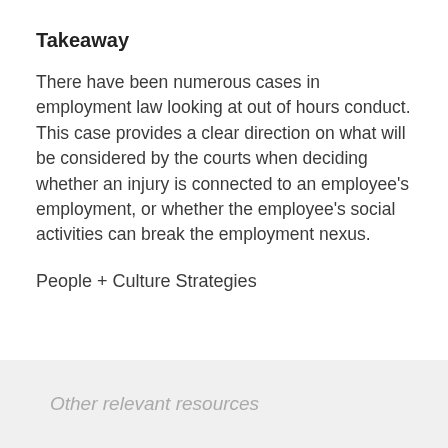Takeaway
There have been numerous cases in employment law looking at out of hours conduct. This case provides a clear direction on what will be considered by the courts when deciding whether an injury is connected to an employee's employment, or whether the employee's social activities can break the employment nexus.
People + Culture Strategies
Other relevant resources